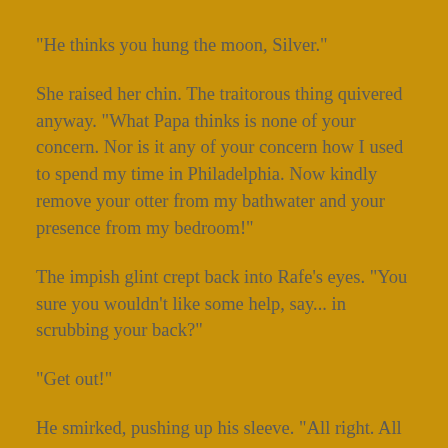"He thinks you hung the moon, Silver."
She raised her chin. The traitorous thing quivered anyway. "What Papa thinks is none of your concern. Nor is it any of your concern how I used to spend my time in Philadelphia. Now kindly remove your otter from my bathwater and your presence from my bedroom!"
The impish glint crept back into Rafe’s eyes. "You sure you wouldn't like some help, say... in scrubbing your back?"
"Get out!"
He smirked, pushing up his sleeve. "All right. All right. Tavy and I know when we’re not wanted. Don't we, Tavy?"
The otter pup’s ears pricked at his croon, and she paddled closer, wrapping herself around the bared